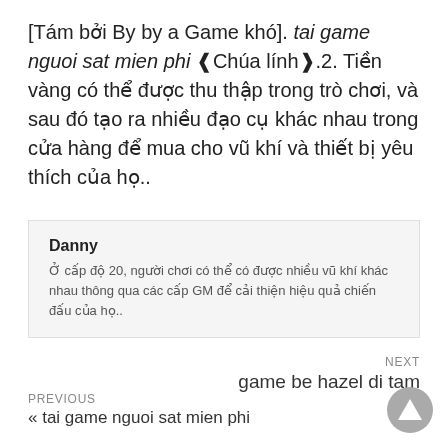[Tám bởi By by a Game khó]. tai game nguoi sat mien phi ❰Chúa lính❱.2. Tiền vàng có thể được thu thập trong trò chơi, và sau đó tạo ra nhiều đạo cụ khác nhau trong cửa hàng để mua cho vũ khí và thiết bị yêu thích của họ..
Danny
Ở cấp độ 20, người chơi có thể có được nhiều vũ khí khác nhau thông qua các cấp GM để cải thiện hiệu quả chiến đấu của họ..
NEXT
game be hazel di tam
PREVIOUS
« tai game nguoi sat mien phi